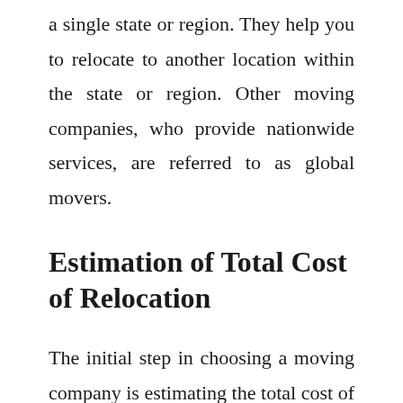a single state or region. They help you to relocate to another location within the state or region. Other moving companies, who provide nationwide services, are referred to as global movers.
Estimation of Total Cost of Relocation
The initial step in choosing a moving company is estimating the total cost of your relocation. Asking for quotes from various moving companies will help you make an